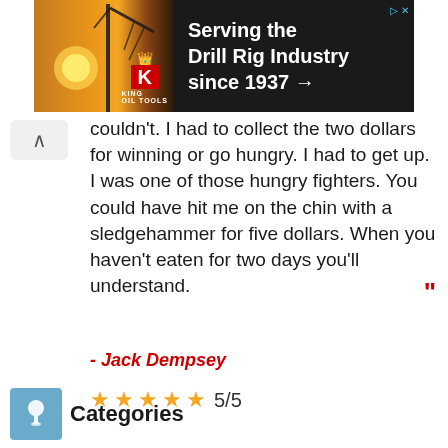[Figure (photo): King Oil Tools advertisement banner with dark background, oil rig crane silhouette against sunset, King logo with crown and red K, text reading 'Serving the Drill Rig Industry since 1937 →']
couldn't. I had to collect the two dollars for winning or go hungry. I had to get up. I was one of those hungry fighters. You could have hit me on the chin with a sledgehammer for five dollars. When you haven't eaten for two days you'll understand. "
- Jack Dempsey
★★★★★ 5/5
Categories
- Schedule